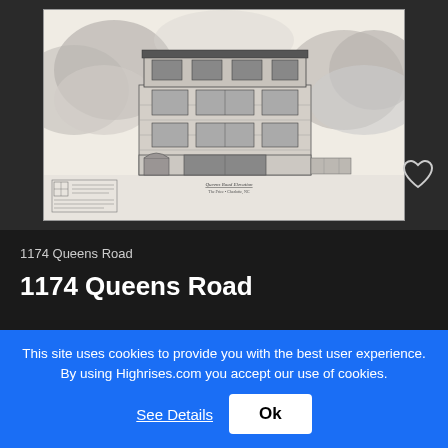[Figure (illustration): Architectural elevation drawing of a multi-story stone building (The Price, Charlotte, NC) labeled 'Queens Road Elevation'. The building has multiple floors with large windows, a modern roofline, and is surrounded by stylized clouds. A title block in the lower left references 'Capitol Block Architecture'.]
1174 Queens Road
1174 Queens Road
This site uses cookies to provide you with the best user experience. By using Highrises.com you accept our use of cookies.
See Details
Ok